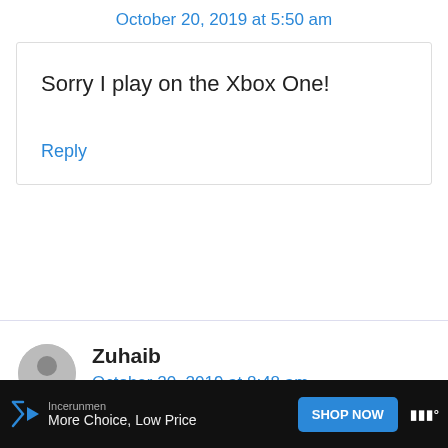October 20, 2019 at 5:50 am
Sorry I play on the Xbox One!
Reply
Zuhaib
October 20, 2019 at 8:48 am
Incerunmen More Choice, Low Price SHOP NOW